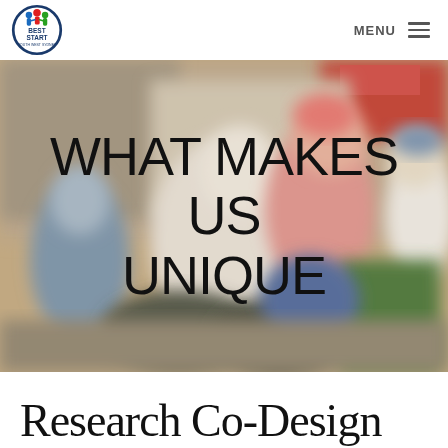Best Start South West Sydney — MENU
[Figure (photo): Blurred outdoor crowd scene with people including children on bicycles at what appears to be a community event or street fair. Warm tones with figures in casual clothing.]
WHAT MAKES US UNIQUE
Research Co-Design